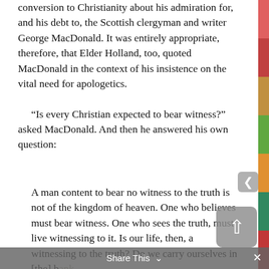conversion to Christianity about his admiration for, and his debt to, the Scottish clergyman and writer George MacDonald. It was entirely appropriate, therefore, that Elder Holland, too, quoted MacDonald in the context of his insistence on the vital need for apologetics.
“Is every Christian expected to bear witness?” asked MacDonald. And then he answered his own question:
A man content to bear no witness to the truth is not of the kingdom of heaven. One who believes must bear witness. One who sees the truth, must live witnessing to it. Is our life, then, a witnessing to the truth? Do we carry ourselves in [the] bank, on [the] farm, in [the] house or shop, in [the] study or chamber or workshop, as the Lord would, or as the Lord would not?